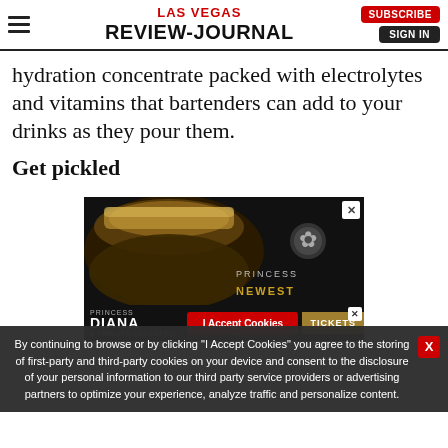LAS VEGAS REVIEW-JOURNAL | SUBSCRIBE | SIGN IN
hydration concentrate packed with electrolytes and vitamins that bartenders can add to your drinks as they pour them.
Get pickled
[Figure (photo): Advertisement featuring Princess Diana tribute show with tiara and rose imagery, text reading PRINCESS, NEWEST, with DIANA below]
By continuing to browse or by clicking “I Accept Cookies” you agree to the storing of first-party and third-party cookies on your device and consent to the disclosure of your personal information to our third party service providers or advertising partners to optimize your experience, analyze traffic and personalize content.